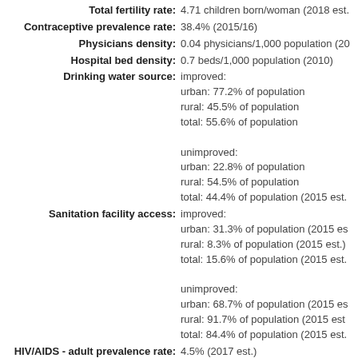Total fertility rate: 4.71 children born/woman (2018 est.)
Contraceptive prevalence rate: 38.4% (2015/16)
Physicians density: 0.04 physicians/1,000 population (2010)
Hospital bed density: 0.7 beds/1,000 population (2010)
Drinking water source: improved: urban: 77.2% of population rural: 45.5% of population total: 55.6% of population unimproved: urban: 22.8% of population rural: 54.5% of population total: 44.4% of population (2015 est.)
Sanitation facility access: improved: urban: 31.3% of population (2015 est.) rural: 8.3% of population (2015 est.) total: 15.6% of population (2015 est.) unimproved: urban: 68.7% of population (2015 est.) rural: 91.7% of population (2015 est.) total: 84.4% of population (2015 est.)
HIV/AIDS - adult prevalence rate: 4.5% (2017 est.)
HIV/AIDS - people living with HIV/AIDS: 1.5 million (2017 est.)
HIV/AIDS - deaths: 32,000 (2017 est.)
Obesity - adult prevalence rate: 8.4% (2016)
Children under the age of 5 years: 13.7% (2015)